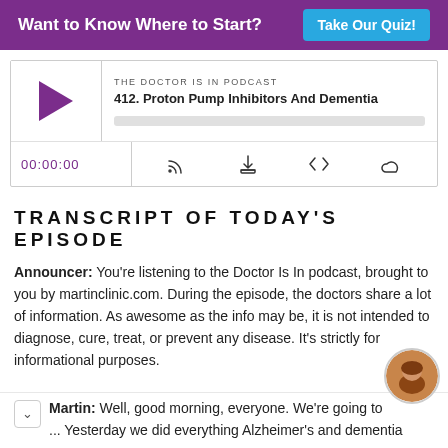Want to Know Where to Start? Take Our Quiz!
[Figure (screenshot): Podcast player widget for 'THE DOCTOR IS IN PODCAST - 412. Proton Pump Inhibitors And Dementia' with play button, progress bar, timer showing 00:00:00, and control icons for subscribe, download, embed, and share.]
TRANSCRIPT OF TODAY'S EPISODE
Announcer: You're listening to the Doctor Is In podcast, brought to you by martinclinic.com. During the episode, the doctors share a lot of information. As awesome as the info may be, it is not intended to diagnose, cure, treat, or prevent any disease. It's strictly for informational purposes.
Martin: Well, good morning, everyone. We're going to ... Yesterday we did everything Alzheimer's and dementia